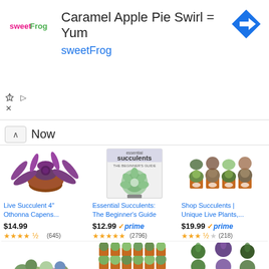[Figure (screenshot): SweetFrog advertisement banner with logo, text 'Caramel Apple Pie Swirl = Yum' and brand name 'sweetFrog', with a blue navigation arrow icon on the right]
Now
[Figure (photo): Live Succulent 4" Othonna Capens plant in a red pot with purple trailing leaves]
Live Succulent 4" Othonna Capens...
$14.99
★★★★½ (645)
[Figure (photo): Essential Succulents: The Beginner's Guide book cover with a green succulent rosette]
Essential Succulents: The Beginner's Guide
$12.99 ✓prime
★★★★★ (2796)
[Figure (photo): Shop Succulents - Unique Live Plants in small orange pots arranged in grid]
Shop Succulents | Unique Live Plants,...
$19.99 ✓prime
★★★½☆ (218)
[Figure (photo): Various succulent plants in small pots - bottom row left]
[Figure (photo): Many small succulent plants in terracotta pots arranged in rows - bottom row middle]
[Figure (photo): Succulent arrangement with green and purple plants - bottom row right]